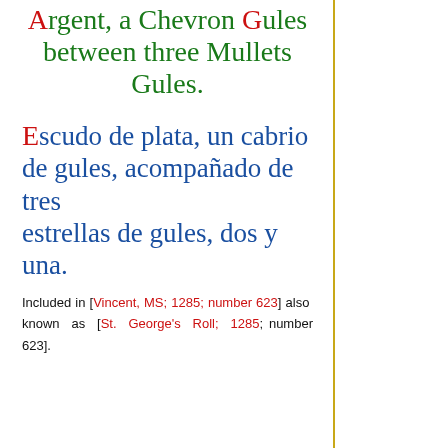Argent, a Chevron Gules between three Mullets Gules.
Escudo de plata, un cabrio de gules, acompañado de tres estrellas de gules, dos y una.
Included in [Vincent, MS; 1285; number 623] also known as [St. George's Roll; 1285; number 623].